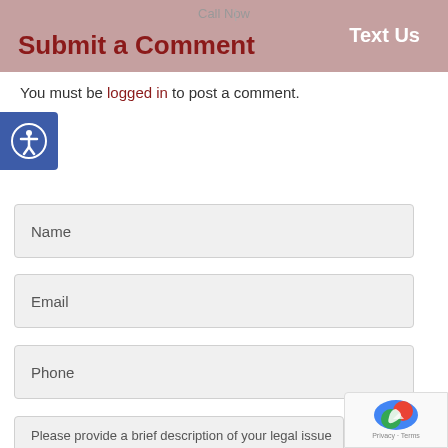Call Now  |  Text Us
Submit a Comment
You must be logged in to post a comment.
[Figure (other): Accessibility icon button — blue square with white person/circle icon]
Name
Email
Phone
Please provide a brief description of your legal issue
[Figure (other): reCAPTCHA badge with Privacy and Terms links]